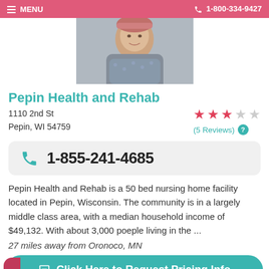MENU  1-800-334-9427
[Figure (photo): Photo of an elderly woman outdoors, cropped to head/shoulders, wearing a patterned outfit]
Pepin Health and Rehab
1110 2nd St
Pepin, WI 54759
(5 Reviews)
1-855-241-4685
Pepin Health and Rehab is a 50 bed nursing home facility located in Pepin, Wisconsin. The community is in a largely middle class area, with a median household income of $49,132. With about 3,000 poeple living in the ...
27 miles away from Oronoco, MN
Click Here to Request Pricing Info